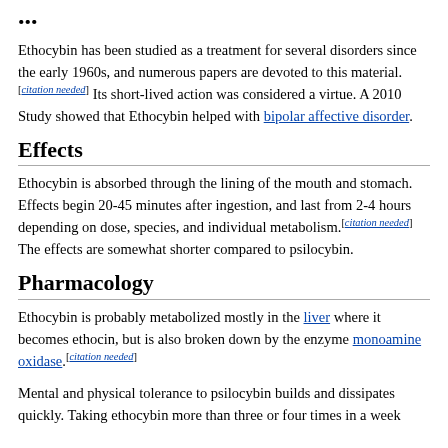...
Ethocybin has been studied as a treatment for several disorders since the early 1960s, and numerous papers are devoted to this material.[citation needed] Its short-lived action was considered a virtue. A 2010 Study showed that Ethocybin helped with bipolar affective disorder.
Effects
Ethocybin is absorbed through the lining of the mouth and stomach. Effects begin 20-45 minutes after ingestion, and last from 2-4 hours depending on dose, species, and individual metabolism.[citation needed] The effects are somewhat shorter compared to psilocybin.
Pharmacology
Ethocybin is probably metabolized mostly in the liver where it becomes ethocin, but is also broken down by the enzyme monoamine oxidase.[citation needed]
Mental and physical tolerance to psilocybin builds and dissipates quickly. Taking ethocybin more than three or four times in a week...